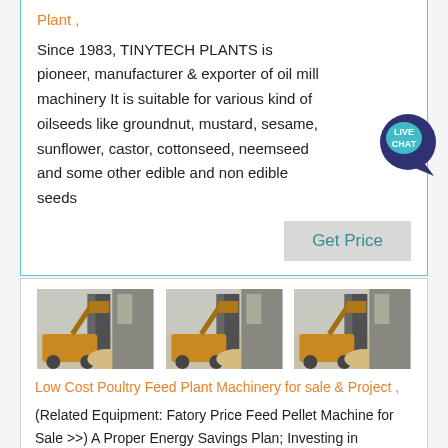Plant ,
Since 1983, TINYTECH PLANTS is pioneer, manufacturer & exporter of oil mill machinery It is suitable for various kind of oilseeds like groundnut, mustard, sesame, sunflower, castor, cottonseed, neemseed and some other edible and non edible seeds
[Figure (other): Live Chat bubble icon with teal background]
Get Price
[Figure (photo): Three identical photos of industrial machinery/loader in a warehouse setting]
Low Cost Poultry Feed Plant Machinery for sale & Project ,
(Related Equipment: Fatory Price Feed Pellet Machine for Sale >>) A Proper Energy Savings Plan; Investing in